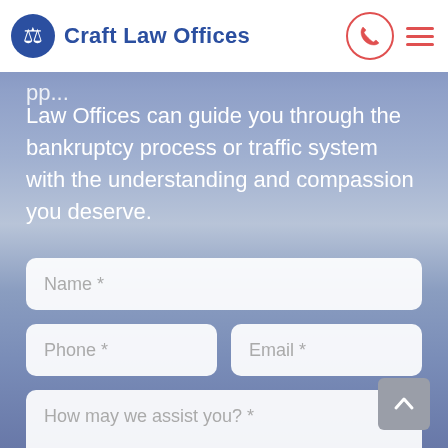Craft Law Offices
Law Offices can guide you through the bankruptcy process or traffic system with the understanding and compassion you deserve.
[Figure (screenshot): Contact form with fields: Name *, Phone *, Email *, How may we assist you? *]